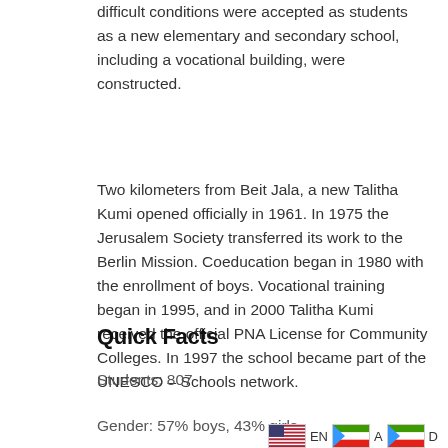difficult conditions were accepted as students as a new elementary and secondary school, including a vocational building, were constructed.
Two kilometers from Beit Jala, a new Talitha Kumi opened officially in 1961. In 1975 the Jerusalem Society transferred its work to the Berlin Mission. Coeducation began in 1980 with the enrollment of boys. Vocational training began in 1995, and in 2000 Talitha Kumi received the official PNA License for Community Colleges. In 1997 the school became part of the UNESCO – Schools network.
Quick Facts
Students: 807
Gender: 57% boys, 43% girls
EN  A  D